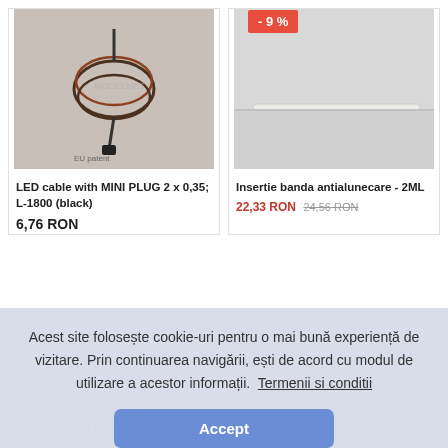[Figure (photo): LED cable with mini plug product photo - coiled black/brown wire with connector]
[Figure (photo): Anti-slip band insert product photo - thin white/transparent strip on grey surface]
- 9 %
LED cable with MINI PLUG 2 x 0,35; L-1800 (black)
6,76 RON
Insertie banda antialunecare - 2ML
22,33 RON  24,56 RON
Acest site folosește cookie-uri pentru o mai bună experiență de vizitare. Prin continuarea navigării, ești de acord cu modul de utilizare a acestor informații.  Termenii si conditii
Accept
Istoricul tau de navigare